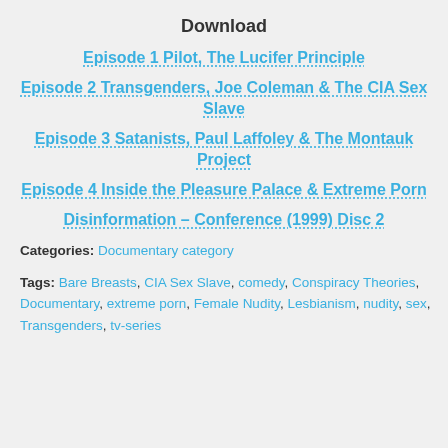Download
Episode 1 Pilot, The Lucifer Principle
Episode 2 Transgenders, Joe Coleman & The CIA Sex Slave
Episode 3 Satanists, Paul Laffoley & The Montauk Project
Episode 4 Inside the Pleasure Palace & Extreme Porn
Disinformation – Conference (1999) Disc 2
Categories: Documentary category
Tags: Bare Breasts, CIA Sex Slave, comedy, Conspiracy Theories, Documentary, extreme porn, Female Nudity, Lesbianism, nudity, sex, Transgenders, tv-series